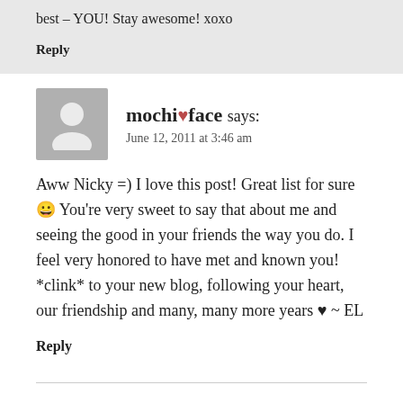best – YOU! Stay awesome! xoxo
Reply
[Figure (illustration): Generic grey avatar silhouette icon for commenter mochi♥face]
mochi♥face says:
June 12, 2011 at 3:46 am
Aww Nicky =) I love this post! Great list for sure 😀 You're very sweet to say that about me and seeing the good in your friends the way you do. I feel very honored to have met and known you! *clink* to your new blog, following your heart, our friendship and many, many more years ♥ ~ EL
Reply